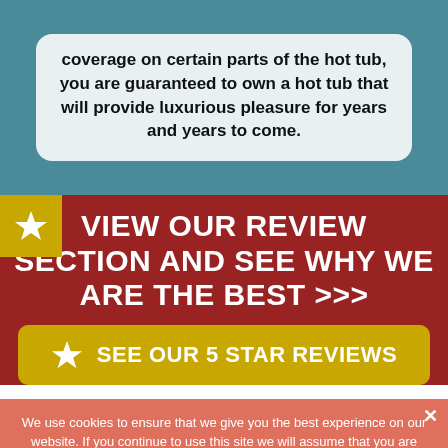coverage on certain parts of the hot tub, you are guaranteed to own a hot tub that will provide luxurious pleasure for years and years to come.
VIEW OUR REVIEW SECTION AND SEE WHY WE ARE THE BEST >>>
SEE OUR 5 STAR REVIEWS
We use cookies to ensure that we give you the best experience on our website. If you continue to use this site we will assume that you are happy with it.
Proceed
No
Privacy